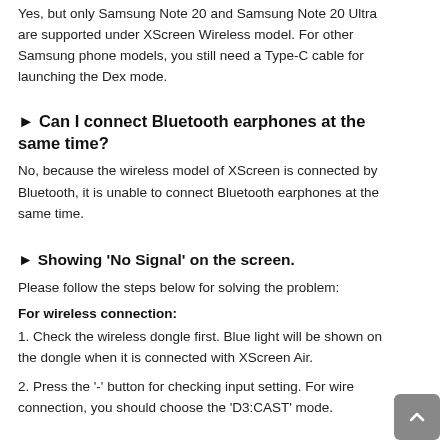Yes, but only Samsung Note 20 and Samsung Note 20 Ultra are supported under XScreen Wireless model. For other Samsung phone models, you still need a Type-C cable for launching the Dex mode.
► Can I connect Bluetooth earphones at the same time?
No, because the wireless model of XScreen is connected by Bluetooth, it is unable to connect Bluetooth earphones at the same time.
► Showing 'No Signal' on the screen.
Please follow the steps below for solving the problem:
For wireless connection:
1. Check the wireless dongle first. Blue light will be shown on the dongle when it is connected with XScreen Air.
2. Press the '-' button for checking input setting. For wire connection, you should choose the 'D3:CAST' mode.